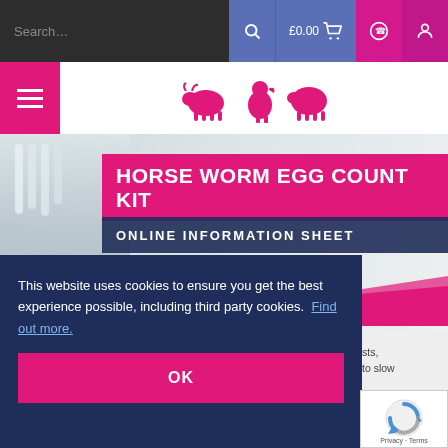Search...  £0.00
[Figure (logo): Animal silhouettes logo: cow, chicken, sheep in pink]
HORSE WORM EGG COUNT KIT
ONLINE INFORMATION SHEET
[Figure (photo): Laboratory equipment background image with pink and navy overlay banners]
This website uses cookies to ensure you get the best experience possible, including third party cookies.  Find out more.
OK